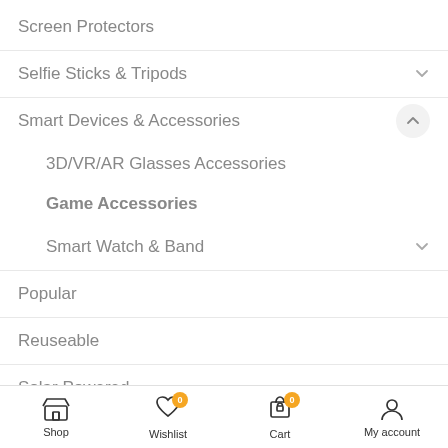Screen Protectors
Selfie Sticks & Tripods
Smart Devices & Accessories
3D/VR/AR Glasses Accessories
Game Accessories
Smart Watch & Band
Popular
Reuseable
Solar Powered
Sports Accessories
Shop  Wishlist 0  Cart 0  My account